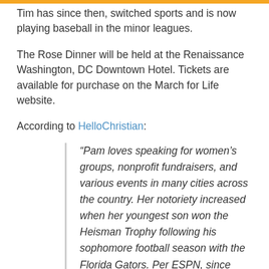Tim has since then, switched sports and is now playing baseball in the minor leagues.
The Rose Dinner will be held at the Renaissance Washington, DC Downtown Hotel. Tickets are available for purchase on the March for Life website.
According to HelloChristian:
“Pam loves speaking for women’s groups, nonprofit fundraisers, and various events in many cities across the country. Her notoriety increased when her youngest son won the Heisman Trophy following his sophomore football season with the Florida Gators. Per ESPN, since...